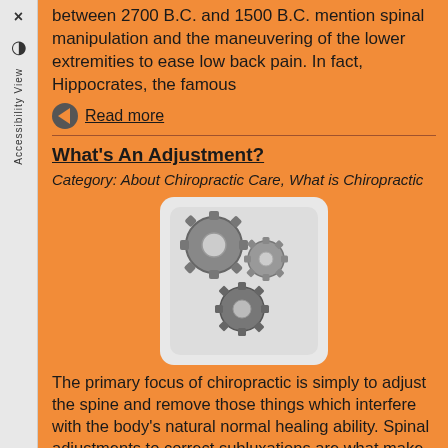between 2700 B.C. and 1500 B.C. mention spinal manipulation and the maneuvering of the lower extremities to ease low back pain. In fact, Hippocrates, the famous
Read more
What's An Adjustment?
Category: About Chiropractic Care, What is Chiropractic
[Figure (photo): Three interlocking metallic gears on a white background]
The primary focus of chiropractic is simply to adjust the spine and remove those things which interfere with the body's natural normal healing ability. Spinal adjustments to correct subluxations are what make chiropractic professionals unique in